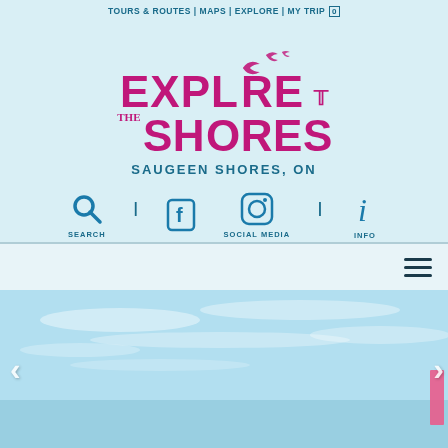TOURS & ROUTES | MAPS | EXPLORE | MY TRIP [0]
[Figure (logo): Explore The Shores logo with seagull birds above, magenta/pink text on light blue background. Tagline: SAUGEEN SHORES, ON]
[Figure (infographic): Icon row: Search magnifying glass icon, Facebook and Instagram social media icons, and info 'i' icon, with labels SEARCH | SOCIAL MEDIA | INFO in teal blue]
[Figure (screenshot): Hamburger menu icon (three horizontal lines) on light blue/grey bar, right-aligned]
[Figure (photo): Hero image of open sky and water/beach scene in light blue tones. Navigation arrows on left and right. Partial figure with pink/red element visible at right edge bottom.]